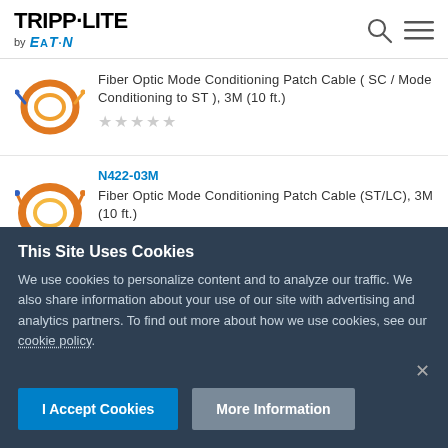TRIPP·LITE by EATON
Fiber Optic Mode Conditioning Patch Cable ( SC / Mode Conditioning to ST ), 3M (10 ft.)
★★★★★
N422-03M
Fiber Optic Mode Conditioning Patch Cable (ST/LC), 3M (10 ft.)
★★★★★
This Site Uses Cookies
We use cookies to personalize content and to analyze our traffic. We also share information about your use of our site with advertising and analytics partners. To find out more about how we use cookies, see our cookie policy.
I Accept Cookies
More Information